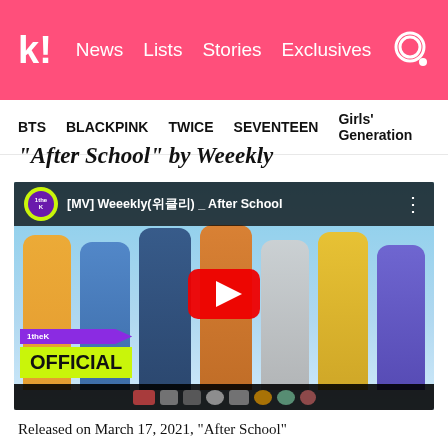k! News Lists Stories Exclusives
BTS  BLACKPINK  TWICE  SEVENTEEN  Girls' Generation
"After School" by Weeekly
[Figure (screenshot): Embedded YouTube video showing [MV] Weeekly(위클리) _ After School music video thumbnail with group members and 1theK OFFICIAL branding, with red play button in center]
Released on March 17, 2021, "After School"